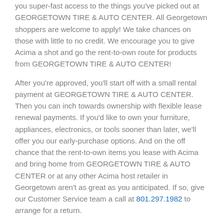you super-fast access to the things you've picked out at GEORGETOWN TIRE & AUTO CENTER. All Georgetown shoppers are welcome to apply! We take chances on those with little to no credit. We encourage you to give Acima a shot and go the rent-to-own route for products from GEORGETOWN TIRE & AUTO CENTER!
After you're approved, you'll start off with a small rental payment at GEORGETOWN TIRE & AUTO CENTER. Then you can inch towards ownership with flexible lease renewal payments. If you'd like to own your furniture, appliances, electronics, or tools sooner than later, we'll offer you our early-purchase options. And on the off chance that the rent-to-own items you lease with Acima and bring home from GEORGETOWN TIRE & AUTO CENTER or at any other Acima host retailer in Georgetown aren't as great as you anticipated. If so, give our Customer Service team a call at 801.297.1982 to arrange for a return.
What Can I Lease-to-Own in 29440,